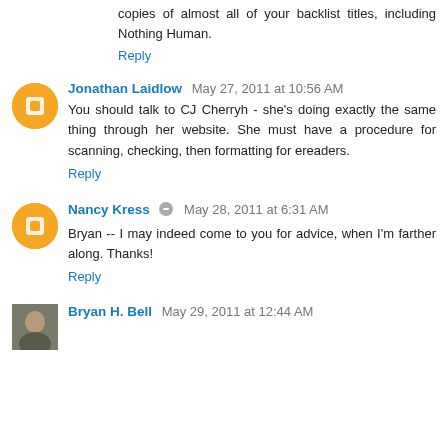copies of almost all of your backlist titles, including Nothing Human.
Reply
Jonathan Laidlow May 27, 2011 at 10:56 AM
You should talk to CJ Cherryh - she's doing exactly the same thing through her website. She must have a procedure for scanning, checking, then formatting for ereaders.
Reply
Nancy Kress May 28, 2011 at 6:31 AM
Bryan -- I may indeed come to you for advice, when I'm farther along. Thanks!
Reply
Bryan H. Bell May 29, 2011 at 12:44 AM